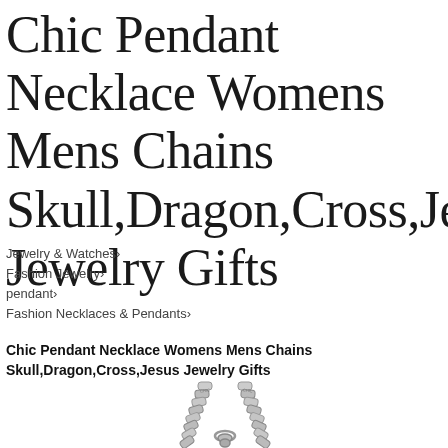Chic Pendant Necklace Womens Mens Chains Skull,Dragon,Cross,Jesu Jewelry Gifts
Jewelry & Watches›
Fashion Jewelry›
pendant›
Fashion Necklaces & Pendants›
Chic Pendant Necklace Womens Mens Chains Skull,Dragon,Cross,Jesus Jewelry Gifts
[Figure (photo): Close-up photo of a silver pendant necklace showing the top portion with chain links and pendant bail in black and white/grayscale]